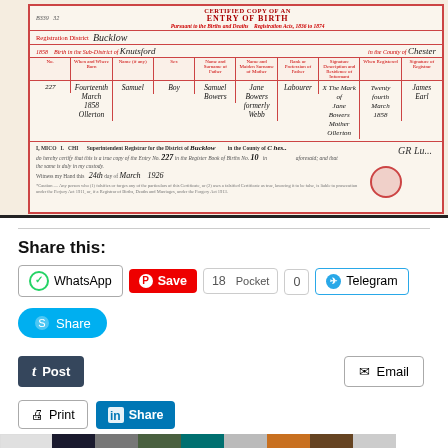[Figure (photo): Scanned certified copy of an Entry of Birth document, Registration District Bucklow, 1858, Birth in the Sub-District of Knutsford, in the County of Chester. Entry No. 227, Fourteenth March 1858, Ollerton, Samuel, Boy, Samuel Bowers, Jane Bowers formerly Webb, Labourer, X The Mark of Jane Bowers Mother Ollerton, Twenty fourth March 1858, James Earl (Registrar)]
Share this:
WhatsApp
Save
18
Pocket
0
Telegram
Share
Post
Email
Print
Share